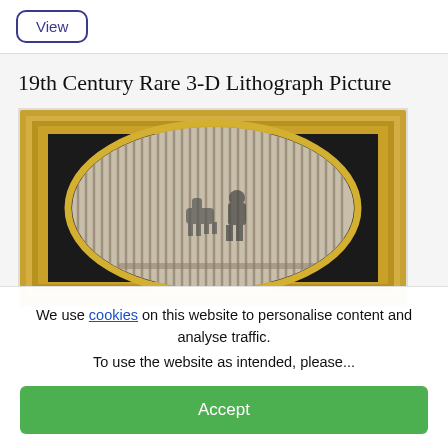View
19th Century Rare 3-D Lithograph Picture
[Figure (photo): Framed 19th century rare 3-D lithograph picture with ornate gold frame and oval window showing a striped lenticular surface with figures visible inside]
We use cookies on this website to personalise content and analyse traffic. To use the website as intended, please...
Accept